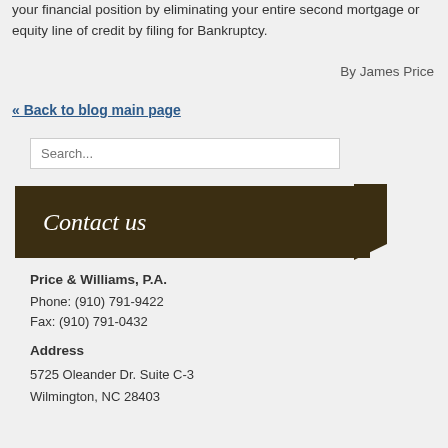your financial position by eliminating your entire second mortgage or equity line of credit by filing for Bankruptcy.
By James Price
« Back to blog main page
Search...
Contact us
Price & Williams, P.A.
Phone: (910) 791-9422
Fax: (910) 791-0432
Address
5725 Oleander Dr. Suite C-3
Wilmington, NC 28403